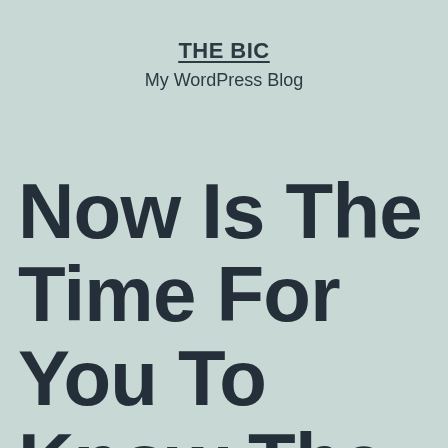THE BIC
My WordPress Blog
Now Is The Time For You To Know The Reality About